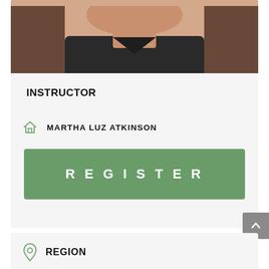[Figure (photo): Cropped photo of a woman wearing a dark top and necklace, photo is cut at neck/shoulder level showing the lower face and upper body]
INSTRUCTOR
MARTHA LUZ ATKINSON
REGISTER
REGION